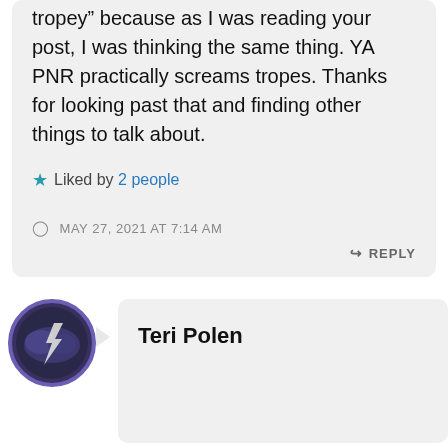tropey" because as I was reading your post, I was thinking the same thing. YA PNR practically screams tropes. Thanks for looking past that and finding other things to talk about.
Liked by 2 people
MAY 27, 2021 AT 7:14 AM
REPLY
Teri Polen